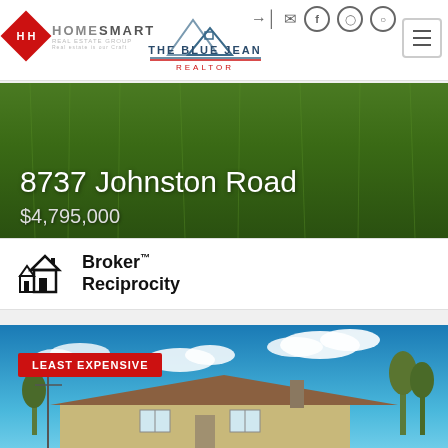[Figure (logo): HomeSmart real estate logo — red diamond with HH initials and HomeSmart Realty Group text]
[Figure (logo): The Blue Jean Realtor logo with mountain/house silhouette]
8737 Johnston Road
$4,795,000
[Figure (logo): Broker Reciprocity logo — house icon with text Broker Reciprocity]
[Figure (photo): Exterior photo of a stone ranch house under a partly cloudy blue sky with trees, labeled LEAST EXPENSIVE]